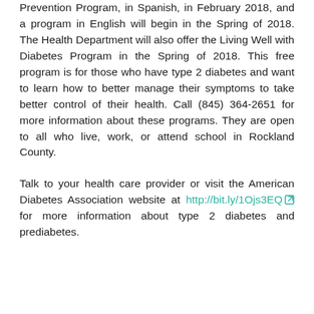Prevention Program, in Spanish, in February 2018, and a program in English will begin in the Spring of 2018. The Health Department will also offer the Living Well with Diabetes Program in the Spring of 2018. This free program is for those who have type 2 diabetes and want to learn how to better manage their symptoms to take better control of their health. Call (845) 364-2651 for more information about these programs. They are open to all who live, work, or attend school in Rockland County.
Talk to your health care provider or visit the American Diabetes Association website at http://bit.ly/1Ojs3EQ for more information about type 2 diabetes and prediabetes.